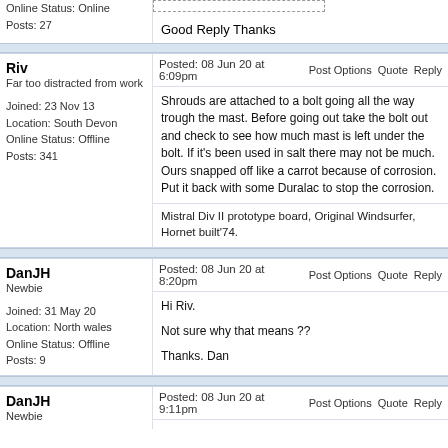Online Status: Online
Posts: 27
Good Reply Thanks
Riv
Far too distracted from work
Joined: 23 Nov 13
Location: South Devon
Online Status: Offline
Posts: 341
Posted: 08 Jun 20 at 6:09pm   Post Options   Quote   Reply
Shrouds are attached to a bolt going all the way trough the mast. Before going out take the bolt out and check to see how much mast is left under the bolt. If it's been used in salt there may not be much. Ours snapped off like a carrot because of corrosion. Put it back with some Duralac to stop the corrosion.
Mistral Div II prototype board, Original Windsurfer, Hornet built'74.
DanJH
Newbie
Joined: 31 May 20
Location: North wales
Online Status: Offline
Posts: 9
Posted: 08 Jun 20 at 8:20pm   Post Options   Quote   Reply
Hi Riv.
Not sure why that means ??
Thanks. Dan
DanJH
Newbie
Posted: 08 Jun 20 at 9:11pm   Post Options   Quote   Reply